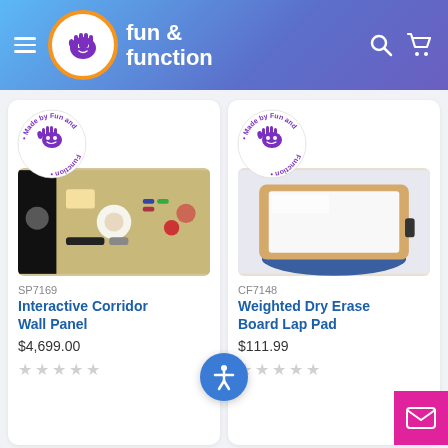[Figure (logo): Fun and Function website header with logo, hamburger menu, search and cart icons on a blue/purple gradient background]
[Figure (photo): Interactive Corridor Wall Panel product image showing colorful activity panel]
SP7169
Interactive Corridor Wall Panel
$4,699.00
[Figure (photo): Weighted Dry Erase Board Lap Pad product image showing wooden frame board on blue cushion]
CF7148
Weighted Dry Erase Board Lap Pad
$111.99